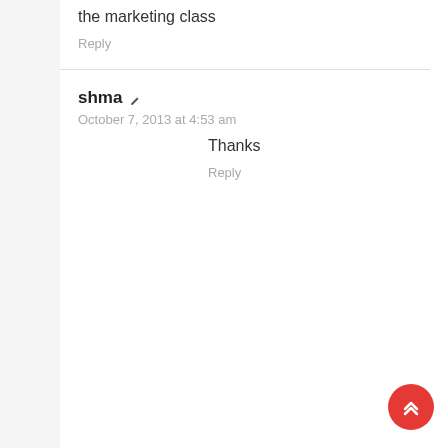the marketing class
Reply
shma
October 7, 2013 at 4:53 am
Thanks
Reply
[Figure (illustration): Red circular scroll-to-top button with double chevron up arrows in white]